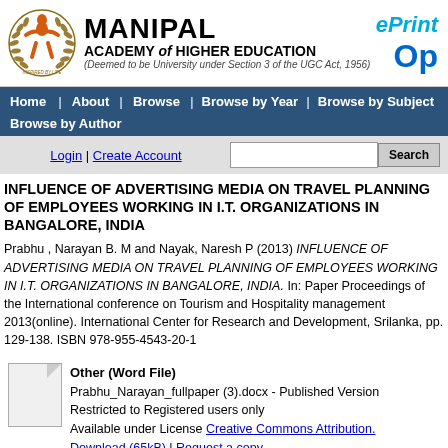[Figure (logo): Manipal Academy of Higher Education logo with orange figure and laurel wreath, text MANIPAL ACADEMY of HIGHER EDUCATION, Deemed to be University under Section 3 of the UGC Act, 1956, and ePrint / Open Access branding]
Home | About | Browse | Browse by Year | Browse by Subject | Browse by Author
Login | Create Account  [Search box] Search
INFLUENCE OF ADVERTISING MEDIA ON TRAVEL PLANNING OF EMPLOYEES WORKING IN I.T. ORGANIZATIONS IN BANGALORE, INDIA
Prabhu , Narayan B. M and Nayak, Naresh P (2013) INFLUENCE OF ADVERTISING MEDIA ON TRAVEL PLANNING OF EMPLOYEES WORKING IN I.T. ORGANIZATIONS IN BANGALORE, INDIA. In: Paper Proceedings of the International conference on Tourism and Hospitality management 2013(online). International Center for Research and Development, Srilanka, pp. 129-138. ISBN 978-955-4543-20-1
Other (Word File)
Prabhu_Narayan_fullpaper (3).docx - Published Version
Restricted to Registered users only
Available under License Creative Commons Attribution.
Download (65kB) | Request a copy